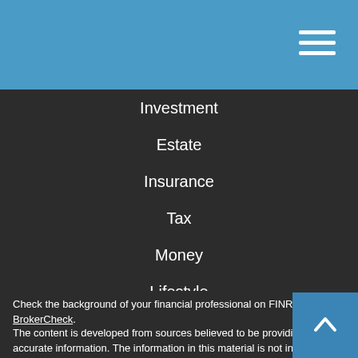[Figure (other): Blue header bar with hamburger menu icon (three horizontal white lines) in top right]
Investment
Estate
Insurance
Tax
Money
Lifestyle
All Articles
All Videos
All Calculators
All Presentations
Check the background of your financial professional on FINRA's BrokerCheck.
The content is developed from sources believed to be providing accurate information. The information in this material is not intended as tax or legal advice. Please consult legal or tax professionals for specific information regarding your individual situation. Some of this material was developed and produced by